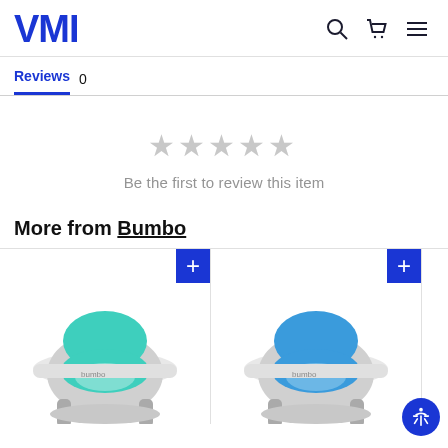VMI
Reviews 0
[Figure (other): Five empty/grey star rating icons indicating no reviews yet]
Be the first to review this item
More from Bumbo
[Figure (photo): Bumbo baby seat in teal/mint color with white tray accessory, product card with blue plus button]
[Figure (photo): Bumbo baby seat in blue color with white tray accessory, product card with blue plus button]
[Figure (other): Partially visible third product card]